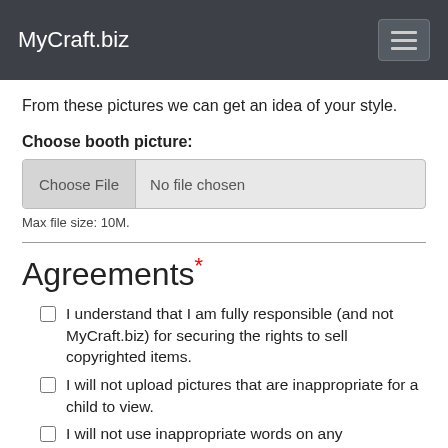MyCraft.biz
From these pictures we can get an idea of your style.
Choose booth picture:
No file chosen
Max file size: 10M.
Agreements*
I understand that I am fully responsible (and not MyCraft.biz) for securing the rights to sell copyrighted items.
I will not upload pictures that are inappropriate for a child to view.
I will not use inappropriate words on any